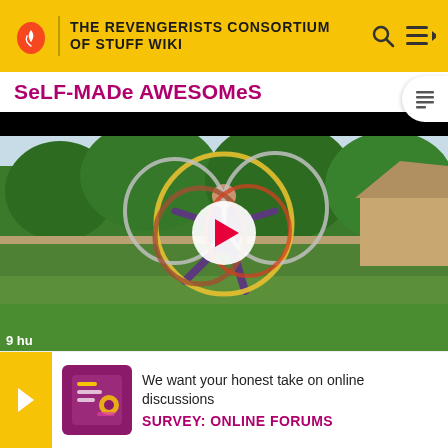THE REVENGERISTS CONSORTIUM OF STUFF WIKI
SeLF-MADe AWESOMeS
[Figure (photo): Woman performing hula hoop tricks outdoors with multiple hoops, in front of a fence and trees. A video play button overlay is shown in the center.]
We want your honest take on online discussions
SURVEY: ONLINE FORUMS
9 hu